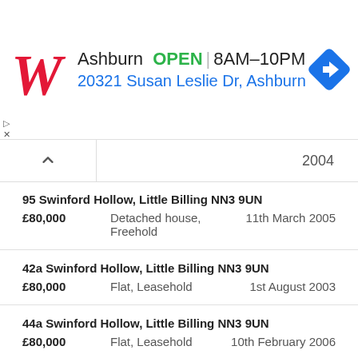[Figure (infographic): Walgreens advertisement banner showing Ashburn location OPEN 8AM-10PM at 20321 Susan Leslie Dr, Ashburn with navigation icon]
2004
95 Swinford Hollow, Little Billing NN3 9UN
£80,000  Detached house, Freehold  11th March 2005
42a Swinford Hollow, Little Billing NN3 9UN
£80,000  Flat, Leasehold  1st August 2003
44a Swinford Hollow, Little Billing NN3 9UN
£80,000  Flat, Leasehold  10th February 2006
62 Swinford Hollow, Little Billing NN3 9UN
£80,000  Flat, Leasehold  15th July 2005
85a Swinford Hollow, Little Billing NN3 9UN